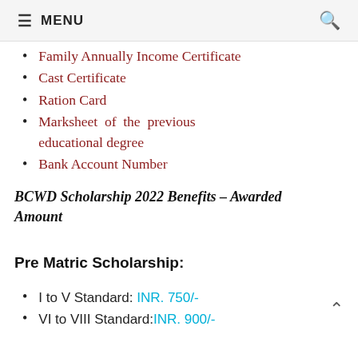≡ MENU 🔍
Family Annually Income Certificate
Cast Certificate
Ration Card
Marksheet of the previous educational degree
Bank Account Number
BCWD Scholarship 2022 Benefits – Awarded Amount
Pre Matric Scholarship:
I to V Standard: INR. 750/-
VI to VIII Standard: INR. 900/-